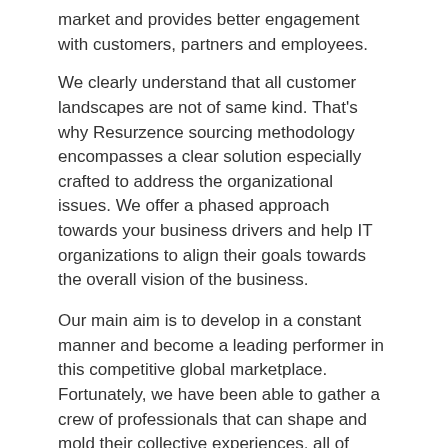market and provides better engagement with customers, partners and employees.
We clearly understand that all customer landscapes are not of same kind. That's why Resurzence sourcing methodology encompasses a clear solution especially crafted to address the organizational issues. We offer a phased approach towards your business drivers and help IT organizations to align their goals towards the overall vision of the business.
Our main aim is to develop in a constant manner and become a leading performer in this competitive global marketplace. Fortunately, we have been able to gather a crew of professionals that can shape and mold their collective experiences, all of them possess outstanding talent that can help to accelerate your organization.
connect@resurzence.com
careers@resurzence.com
Powered BY Intellect, Driven By Values